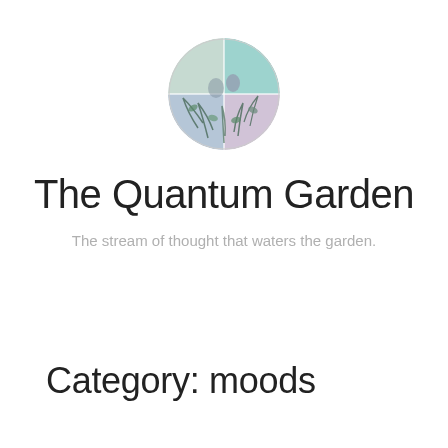[Figure (logo): Circular logo image with a decorative nature/garden scene featuring plants, figures, and colorful elements within a circular border with root-like tendrils at the bottom]
The Quantum Garden
The stream of thought that waters the garden.
Category: moods